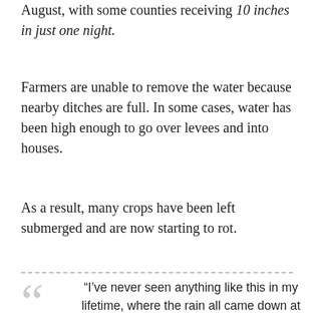August, with some counties receiving 10 inches in just one night.
Farmers are unable to remove the water because nearby ditches are full. In some cases, water has been high enough to go over levees and into houses.
As a result, many crops have been left submerged and are now starting to rot.
“I’ve never seen anything like this in my lifetime, where the rain all came down at once.” — Mississippi Co producer Mike Sullivan #arwx @NWSMemphis #Arkansas